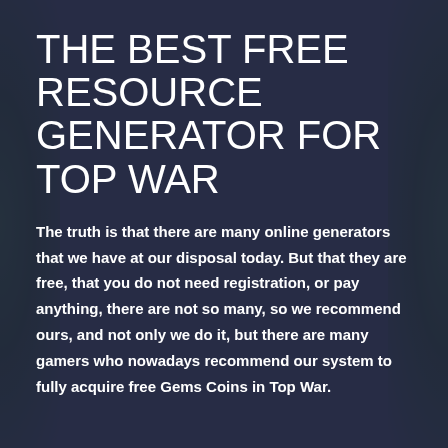THE BEST FREE RESOURCE GENERATOR FOR TOP WAR
The truth is that there are many online generators that we have at our disposal today. But that they are free, that you do not need registration, or pay anything, there are not so many, so we recommend ours, and not only we do it, but there are many gamers who nowadays recommend our system to fully acquire free Gems Coins in Top War.